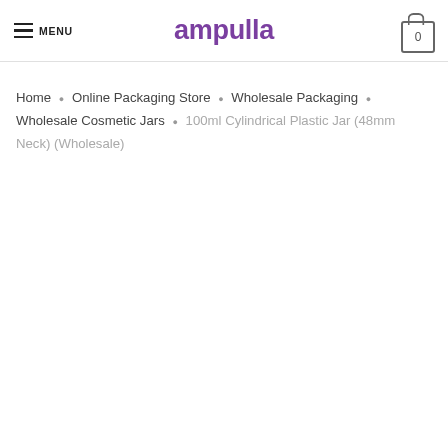MENU | Ampulla | 0
Home > Online Packaging Store > Wholesale Packaging > Wholesale Cosmetic Jars > 100ml Cylindrical Plastic Jar (48mm Neck) (Wholesale)